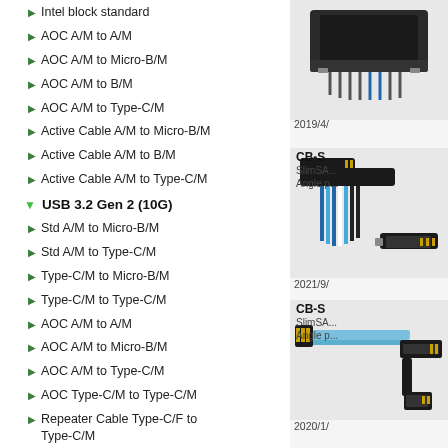Intel block standard
AOC A/M to A/M
AOC A/M to Micro-B/M
AOC A/M to B/M
AOC A/M to Type-C/M
Active Cable A/M to Micro-B/M
Active Cable A/M to B/M
Active Cable A/M to Type-C/M
USB 3.2 Gen 2 (10G)
Std A/M to Micro-B/M
Std A/M to Type-C/M
Type-C/M to Micro-B/M
Type-C/M to Type-C/M
AOC A/M to A/M
AOC A/M to Micro-B/M
AOC A/M to Type-C/M
AOC Type-C/M to Type-C/M
Repeater Cable Type-C/F to Type-C/M
Active Cable A/M to Micro-B/M
Active Cable Type-C/M to Type-C/M
Active Cable Type-C/M to
[Figure (photo): Photo of a SlimSAS cable connector product at top right]
2019/4/
[Figure (photo): Photo of a SlimSAS right-angle cable product in middle right]
CB-S
SlimSA... Angle p...
2021/9/
[Figure (photo): Photo of a SlimSAS right-angle cable product lower right]
CB-S
SlimSA... Angle p...
2020/1/